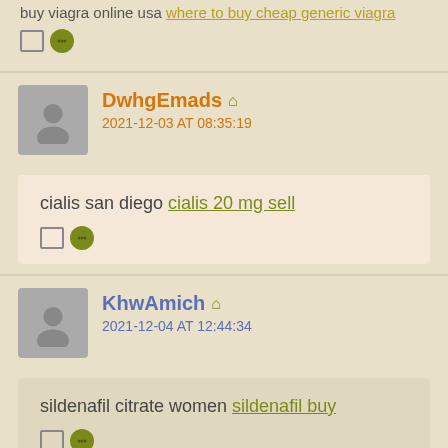buy viagra online usa where to buy cheap generic viagra
[icons] reply
DwhgEmads 🏠
2021-12-03 AT 08:35:19
cialis san diego cialis 20 mg sell
[icons] reply
KhwAmich 🏠
2021-12-04 AT 12:44:34
sildenafil citrate women sildenafil buy
[icons] reply
Cebbsmuse 🏠